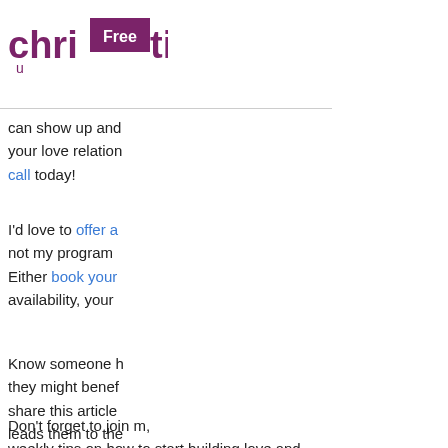[Figure (logo): christi logo in purple/maroon with 'Free' badge overlay]
Love Mini Course
RA Mini Course
can show up and your love relation call today!
I'd love to offer a not my program Either book your availability, your
Know someone h they might benef share this article leads them to the
Don't forget to join m, weekly tips on how to start building love and confidence
Name *
Email *
I Am Ready!